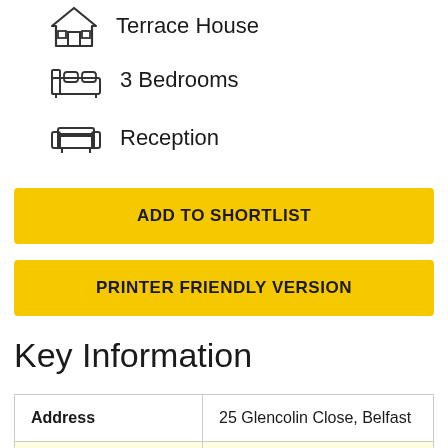Terrace House
3 Bedrooms
Reception
ADD TO SHORTLIST
PRINTER FRIENDLY VERSION
Key Information
| Address |  |
| --- | --- |
| Address | 25 Glencolin Close, Belfast |